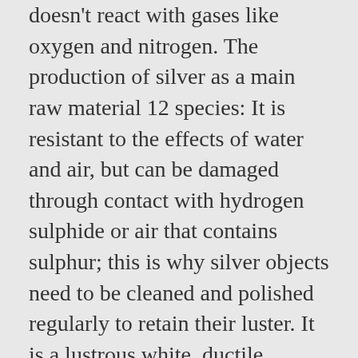doesn't react with gases like oxygen and nitrogen. The production of silver as a main raw material 12 species: It is resistant to the effects of water and air, but can be damaged through contact with hydrogen sulphide or air that contains sulphur; this is why silver objects need to be cleaned and polished regularly to retain their luster. It is a lustrous white, ductile, malleable metallic element, occurring both uncombined and in ores such as argentite, having the highest thermal and electrical conductivity of the metals.. Chemical properties of - Chemical properties of melting boil is 962 Celsius, boiling boil is 2212 Celsius, Ionization Energy is 7,5762 kJ/mol, Electrone Gativity is 2,2, Covalent Radius is 134, Discovery Year: